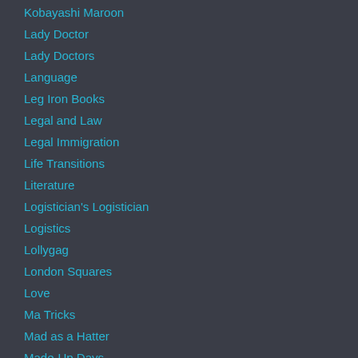Kobayashi Maroon
Lady Doctor
Lady Doctors
Language
Leg Iron Books
Legal and Law
Legal Immigration
Life Transitions
Literature
Logistician's Logistician
Logistics
Lollygag
London Squares
Love
Ma Tricks
Mad as a Hatter
Made-Up Days
Maps